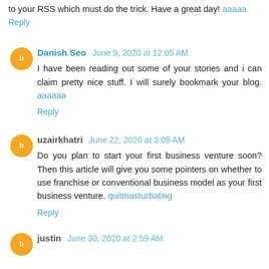to your RSS which must do the trick. Have a great day!
Reply
Danish Seo  June 9, 2020 at 12:05 AM
I have been reading out some of your stories and i can claim pretty nice stuff. I will surely bookmark your blog.
Reply
uzairkhatri  June 22, 2020 at 3:09 AM
Do you plan to start your first business venture soon? Then this article will give you some pointers on whether to use franchise or conventional business model as your first business venture. quitmasturbating
Reply
justin  June 30, 2020 at 2:59 AM